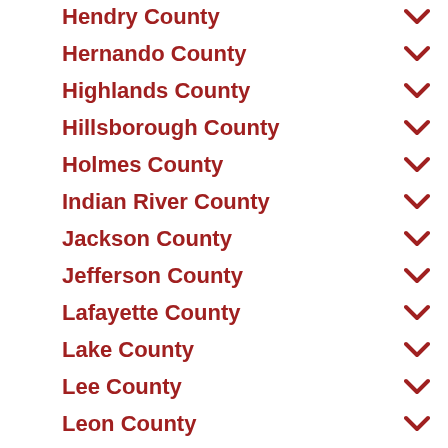Hendry County
Hernando County
Highlands County
Hillsborough County
Holmes County
Indian River County
Jackson County
Jefferson County
Lafayette County
Lake County
Lee County
Leon County
Levy County